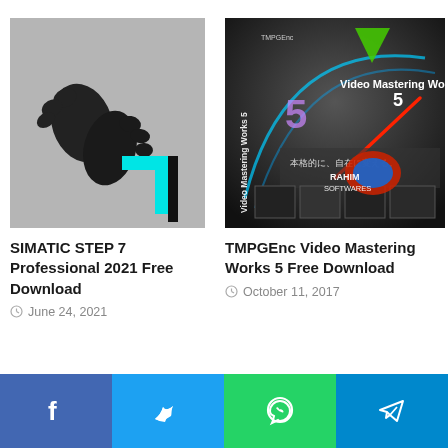[Figure (photo): SIMATIC STEP 7 logo - grey background with black footprint and cyan/blue number 7]
SIMATIC STEP 7 Professional 2021 Free Download
June 24, 2021
[Figure (photo): TMPGEnc Video Mastering Works 5 product box with dark background, showing disc, colored lights, and RAHIM SOFTWARES logo]
TMPGEnc Video Mastering Works 5 Free Download
October 11, 2017
Facebook | Twitter | WhatsApp | Telegram social share buttons